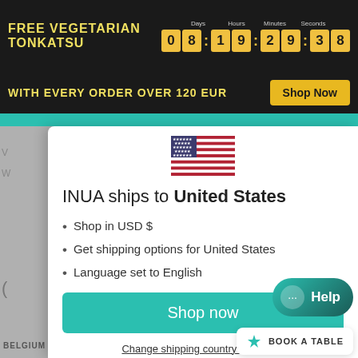FREE VEGETARIAN TONKATSU
08:19:29:38
WITH EVERY ORDER OVER 120 EUR
Shop Now
[Figure (illustration): US flag emoji/image centered in modal]
INUA ships to United States
Shop in USD $
Get shipping options for United States
Language set to English
Shop now
Change shipping country and language
Help
BOOK A TABLE
BELGIUM – ABOVE 60 EUR